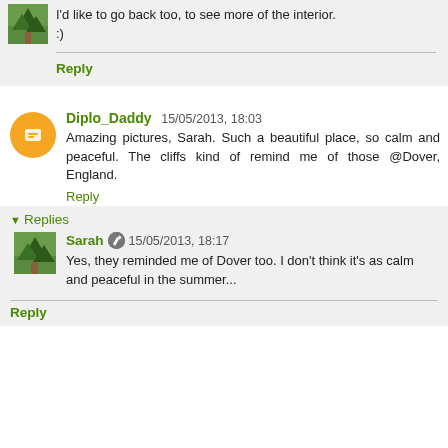I'd like to go back too, to see more of the interior. :)
Reply
Diplo_Daddy 15/05/2013, 18:03
Amazing pictures, Sarah. Such a beautiful place, so calm and peaceful. The cliffs kind of remind me of those @Dover, England.
Reply
Replies
Sarah 15/05/2013, 18:17
Yes, they reminded me of Dover too. I don't think it's as calm and peaceful in the summer...
Reply